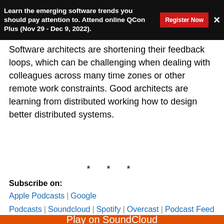Learn the emerging software trends you should pay attention to. Attend online QCon Plus (Nov 29 - Dec 9, 2022).
Software architects are shortening their feedback loops, which can be challenging when dealing with colleagues across many time zones or other remote work constraints. Good architects are learning from distributed working how to design better distributed systems.
* * *
Subscribe on:
Apple Podcasts | Google Podcasts | Soundcloud | Spotify | Overcast | Podcast Feed
[Figure (screenshot): SoundCloud embedded player widget showing InfoQ podcast, with play button, InfoQ branding, SoundCloud logo, and Share button. An orange 'Play on SoundCloud' bar overlays the player.]